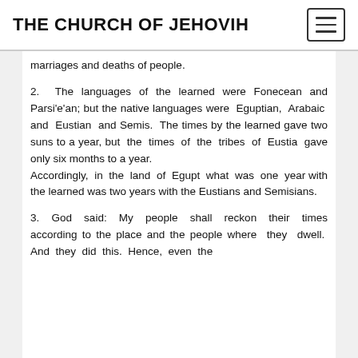THE CHURCH OF JEHOVIH
marriages and deaths of people.
2. The languages of the learned were Fonecean and Parsi'e'an; but the native languages were Eguptian, Arabaic and Eustian and Semis. The times by the learned gave two suns to a year, but the times of the tribes of Eustia gave only six months to a year. Accordingly, in the land of Egupt what was one year with the learned was two years with the Eustians and Semisians.
3. God said: My people shall reckon their times according to the place and the people where they dwell. And they did this. Hence, even the